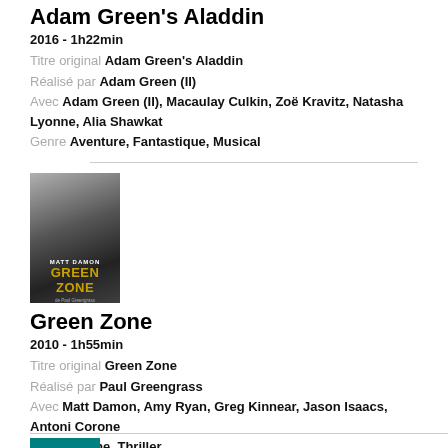Adam Green's Aladdin
2016 - 1h22min
Titre original Adam Green's Aladdin
Réalisé par Adam Green (II)
Avec Adam Green (II), Macaulay Culkin, Zoë Kravitz, Natasha Lyonne, Alia Shawkat
Genre Aventure, Fantastique, Musical
[Figure (photo): Movie poster for Green Zone featuring Matt Damon in black and white with 'GREEN ZONE' text in gold]
Green Zone
2010 - 1h55min
Titre original Green Zone
Réalisé par Paul Greengrass
Avec Matt Damon, Amy Ryan, Greg Kinnear, Jason Isaacs, Antoni Corone
Genre Drame, Thriller